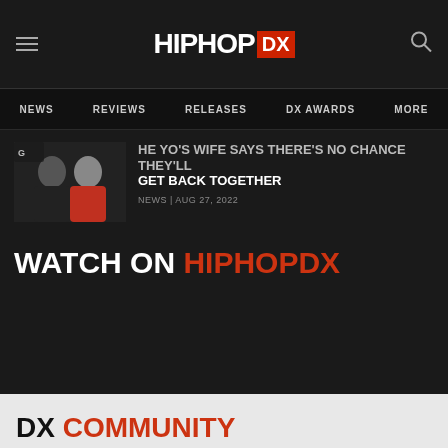HIPHOP DX
[Figure (screenshot): Navigation bar with NEWS, REVIEWS, RELEASES, DX AWARDS, MORE links]
[Figure (photo): Thumbnail photo of two people, one in black jacket and one in red outfit]
HE YO'S WIFE SAYS THERE'S NO CHANCE THEY'LL GET BACK TOGETHER
NEWS | AUG 27, 2022
WATCH ON HIPHOPDX
DX COMMUNITY
2 Readers Joined the Discussion
Join the discussion